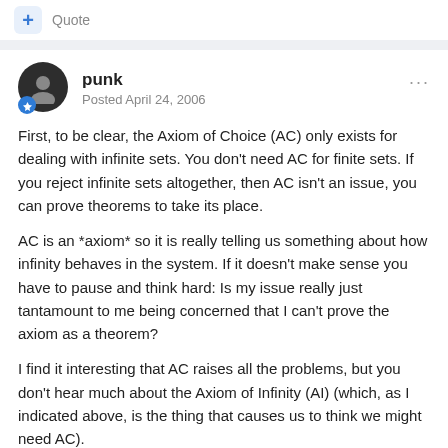+ Quote
punk
Posted April 24, 2006
First, to be clear, the Axiom of Choice (AC) only exists for dealing with infinite sets. You don't need AC for finite sets. If you reject infinite sets altogether, then AC isn't an issue, you can prove theorems to take its place.
AC is an *axiom* so it is really telling us something about how infinity behaves in the system. If it doesn't make sense you have to pause and think hard: Is my issue really just tantamount to me being concerned that I can't prove the axiom as a theorem?
I find it interesting that AC raises all the problems, but you don't hear much about the Axiom of Infinity (AI) (which, as I indicated above, is the thing that causes us to think we might need AC).
You should consider AI and AC as a paired set of axioms telling us that infinite sets exist and they behave a certain way. If you